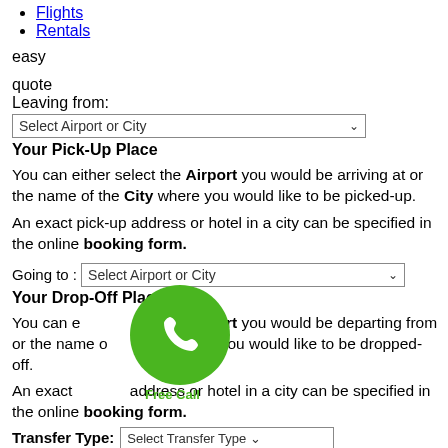Flights
Rentals
easy
quote
Leaving from:
Select Airport or City
Your Pick-Up Place
You can either select the Airport you would be arriving at or the name of the City where you would like to be picked-up.
An exact pick-up address or hotel in a city can be specified in the online booking form.
Going to : Select Airport or City
Your Drop-Off Place
You can either select the Airport you would be departing from or the name of the City where you would like to be dropped-off.
An exact drop-off address or hotel in a city can be specified in the online booking form.
Transfer Type: Select Transfer Type